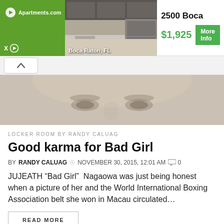[Figure (screenshot): Apartments.com advertisement banner showing a kitchen photo, Boca Raton FL label, price $1,925 and More Info button]
[Figure (photo): Blurred close-up photo of a person's eyes/face]
LOCKER ROOM BY RANDY CALUAG
Good karma for Bad Girl
BY RANDY CALUAG  © NOVEMBER 30, 2015, 12:01 AM  0
JUJEATH “Bad Girl”  Nagaowa was just being honest when a picture of her and the World International Boxing Association belt she won in Macau circulated…
READ MORE